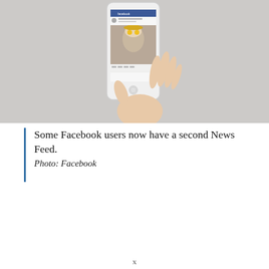[Figure (photo): A hand holding a white smartphone displaying a Facebook News Feed post featuring a woman wearing a hat and holding lemons over her eyes. The background is light gray.]
Some Facebook users now have a second News Feed.
Photo: Facebook